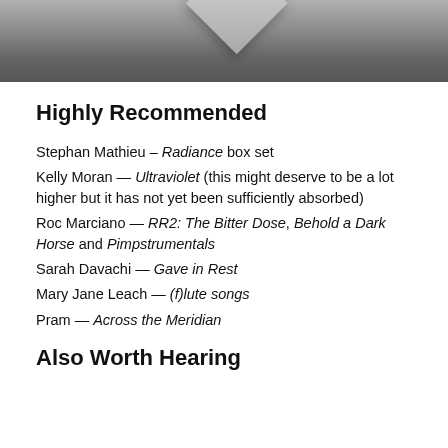[Figure (photo): Cropped photo showing a geometric diamond/cube shape in gray tones against a dark gray background]
Highly Recommended
Stephan Mathieu – Radiance box set
Kelly Moran — Ultraviolet (this might deserve to be a lot higher but it has not yet been sufficiently absorbed)
Roc Marciano — RR2: The Bitter Dose, Behold a Dark Horse and Pimpstrumentals
Sarah Davachi — Gave in Rest
Mary Jane Leach — (f)lute songs
Pram — Across the Meridian
Also Worth Hearing...